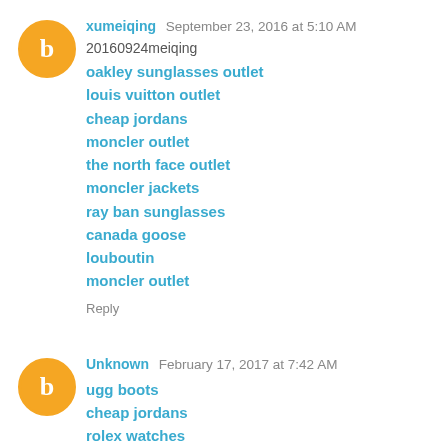xumeiqing September 23, 2016 at 5:10 AM
20160924meiqing
oakley sunglasses outlet
louis vuitton outlet
cheap jordans
moncler outlet
the north face outlet
moncler jackets
ray ban sunglasses
canada goose
louboutin
moncler outlet
Reply
Unknown February 17, 2017 at 7:42 AM
ugg boots
cheap jordans
rolex watches